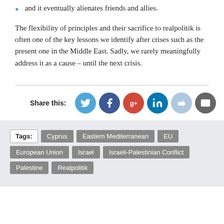and it eventually alienates friends and allies.
The flexibility of principles and their sacrifice to realpolitik is often one of the key lessons we identify after crises such as the present one in the Middle East. Sadly, we rarely meaningfully address it as a cause – until the next crisis.
Share this:
Tags: Cyprus Eastern Mediterranean EU European Union Israel Israeli-Palestinian Conflict Palestine Realpolitik